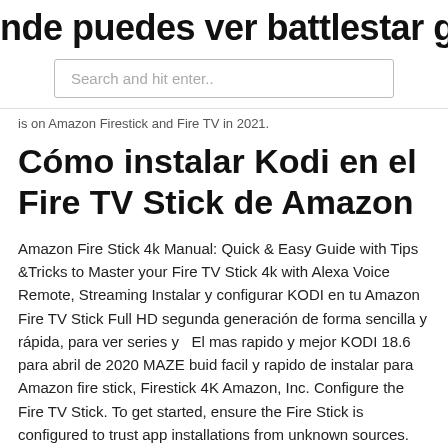nde puedes ver battlestar galactica g
[Figure (screenshot): Search input field with placeholder text 'Search and hit enter..']
is on Amazon Firestick and Fire TV in 2021.
Cómo instalar Kodi en el Fire TV Stick de Amazon
Amazon Fire Stick 4k Manual: Quick & Easy Guide with Tips &Tricks to Master your Fire TV Stick 4k with Alexa Voice Remote, Streaming Instalar y configurar KODI en tu Amazon Fire TV Stick Full HD segunda generación de forma sencilla y rápida, para ver series y   El mas rapido y mejor KODI 18.6 para abril de 2020 MAZE buid facil y rapido de instalar para Amazon fire stick, Firestick 4K Amazon, Inc. Configure the Fire TV Stick. To get started, ensure the Fire Stick is configured to trust app installations from unknown sources. This setting would have been enabled when you first installed Kodi but may have been turned off. Amazon Fire TV & Amazon Fire TV Stick.